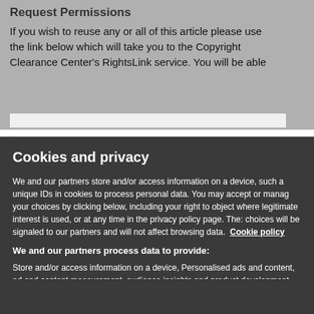Request Permissions
If you wish to reuse any or all of this article please use the link below which will take you to the Copyright Clearance Center's RightsLink service. You will be able
Cookies and privacy
We and our partners store and/or access information on a device, such a unique IDs in cookies to process personal data. You may accept or manage your choices by clicking below, including your right to object where legitimate interest is used, or at any time in the privacy policy page. These choices will be signaled to our partners and will not affect browsing data. Cookie policy
We and our partners process data to provide:
Store and/or access information on a device, Personalised ads and content, ad and content measurement, audience insights and product development, Use precise geolocation data, Actively scan device characteristics for identification
List of Partners (vendors)